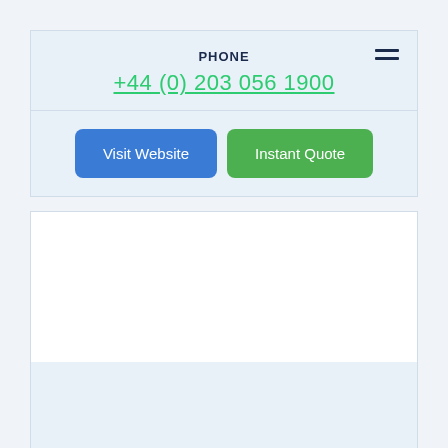PHONE
+44 (0) 203 056 1900
[Figure (screenshot): Visit Website button (blue) and Instant Quote button (green)]
[Figure (screenshot): White content area panel below buttons, partially filled with light blue background at bottom]